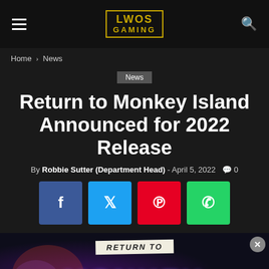LWOS GAMING
Home › News
News
Return to Monkey Island Announced for 2022 Release
By Robbie Sutter (Department Head) - April 5, 2022  🗨 0
[Figure (other): Social share buttons: Facebook (f), Twitter (bird icon), Pinterest (P), WhatsApp (phone icon)]
[Figure (photo): Return to Monkey Island game banner showing 'RETURN TO' text on banner and 'MONKEY' in large purple letters on dark background]